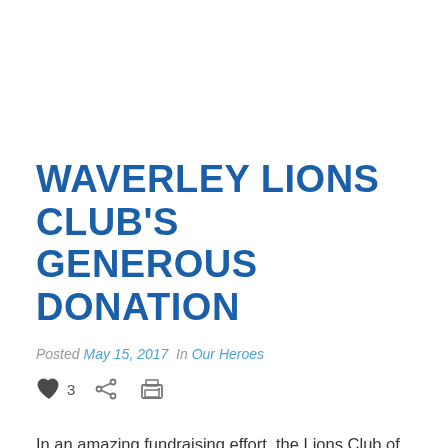WAVERLEY LIONS CLUB'S GENEROUS DONATION
Posted May 15, 2017  In Our Heroes
In an amazing fundraising effort, the Lions Club of Waverley has generously donated four treatment chairs to the new Monash Children's Hospital, providing vital medical assistance to patients